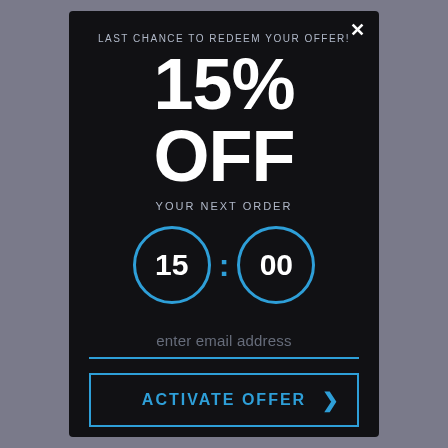LAST CHANCE TO REDEEM YOUR OFFER!
15% OFF
YOUR NEXT ORDER
[Figure (other): Countdown timer showing 15:00 with two circles outlined in blue]
enter email address
ACTIVATE OFFER